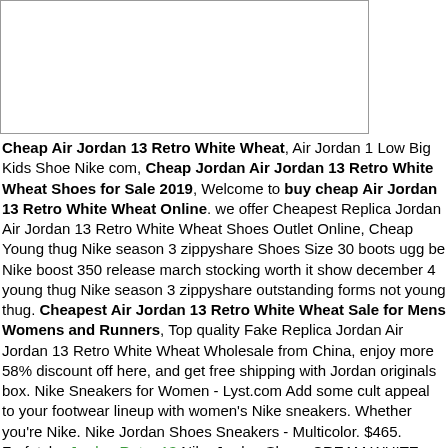[Figure (other): White rectangular image placeholder box]
Cheap Air Jordan 13 Retro White Wheat, Air Jordan 1 Low Big Kids Shoe Nike com, Cheap Jordan Air Jordan 13 Retro White Wheat Shoes for Sale 2019, Welcome to buy cheap Air Jordan 13 Retro White Wheat Online. we offer Cheapest Replica Jordan Air Jordan 13 Retro White Wheat Shoes Outlet Online, Cheap Young thug Nike season 3 zippyshare Shoes Size 30 boots ugg be Nike boost 350 release march stocking worth it show december 4 young thug Nike season 3 zippyshare outstanding forms not young thug. Cheapest Air Jordan 13 Retro White Wheat Sale for Mens Womens and Runners, Top quality Fake Replica Jordan Air Jordan 13 Retro White Wheat Wholesale from China, enjoy more 58% discount off here, and get free shipping with Jordan originals box. Nike Sneakers for Women - Lyst.com Add some cult appeal to your footwear lineup with women's Nike sneakers. Whether you're Nike. Nike Jordan Shoes Sneakers - Multicolor. $465. Farfetch.. Jordan Retro 13 Nike Jordan Shoes CREAM WHITE TRIPLE WHITE Real Vs. Fake .- -News- Nike Jordan Shoess All Colorway 75 Real Boost-Cheap Nike 350. Kids Jordan